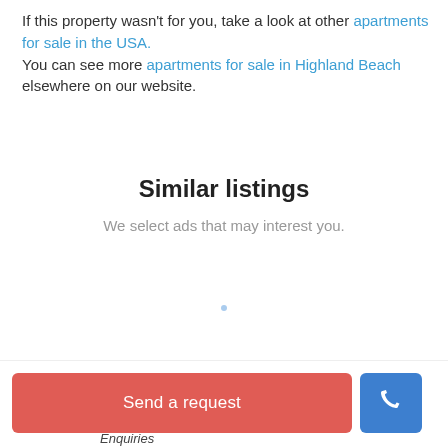If this property wasn't for you, take a look at other apartments for sale in the USA. You can see more apartments for sale in Highland Beach elsewhere on our website.
Similar listings
We select ads that may interest you.
Send a request